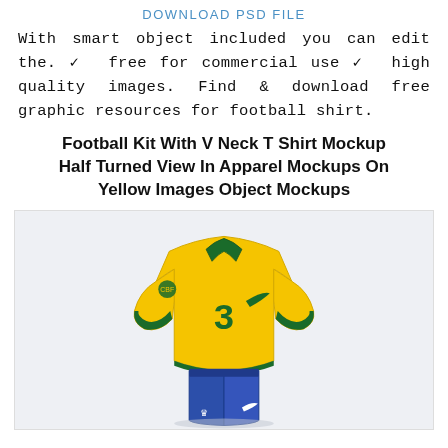DOWNLOAD PSD FILE
With smart object included you can edit the. ✓  free for commercial use ✓  high quality images. Find & download free graphic resources for football shirt.
Football Kit With V Neck T Shirt Mockup Half Turned View In Apparel Mockups On Yellow Images Object Mockups
[Figure (photo): A Brazil-style yellow football jersey with green V-neck collar and green sleeve cuffs, number 3 on the chest, Nike swoosh logo, CBF badge on sleeve, paired with blue football shorts with a white crown logo and Nike swoosh, shown as a half-turned mockup on a light grey background.]